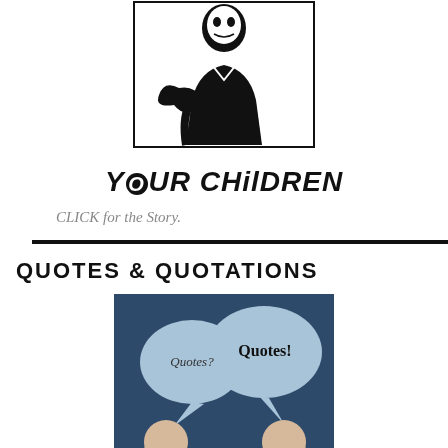[Figure (illustration): Black and white illustration of a person with 'YOUR CHILDREN' text below in bold stylized graffiti-like font]
CLICK for the Story.
QUOTES & QUOTATIONS
[Figure (illustration): Dark navy blue image with two speech bubbles, one labeled 'Quotes?' and one labeled 'Quotes!' with two silhouetted human head profiles facing each other]